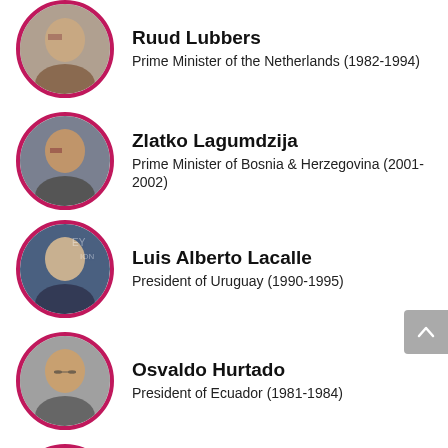Ruud Lubbers — Prime Minister of the Netherlands (1982-1994)
Zlatko Lagumdzija — Prime Minister of Bosnia & Herzegovina (2001-2002)
Luis Alberto Lacalle — President of Uruguay (1990-1995)
Osvaldo Hurtado — President of Ecuador (1981-1984)
Felipe González — President of the Spanish Government (1982-1996)